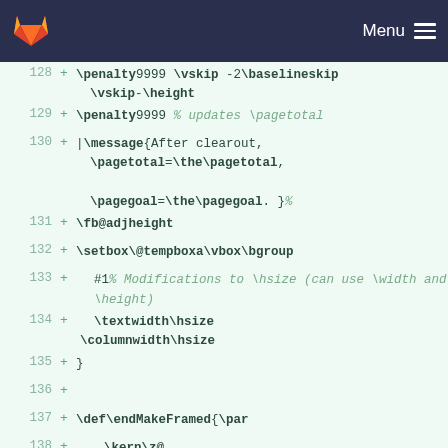[Figure (screenshot): GitLab navigation bar with fox logo and Menu hamburger icon on dark navy background]
128  +  \penalty9999 \vskip -2\baselineskip
         \vskip-\height
129  +  \penalty9999 % updates \pagetotal
130  +  |\message{After clearout,
         \pagetotal=\the\pagetotal,
         \pagegoal=\the\pagegoal. }%
131  +  \fb@adjheight
132  +  \setbox\@tempboxa\vbox\bgroup
133  +      #1% Modifications to \hsize (can use \width and \height)
134  +      \textwidth\hsize
         \columnwidth\hsize
135  +  }
136  +
137  +  \def\endMakeFramed{\par
138  +      \kern\z@
139  +      \hrule\@width\hsize\@height\z@
140  +      \penalty-100 % put depth into height
141  +  \egroup